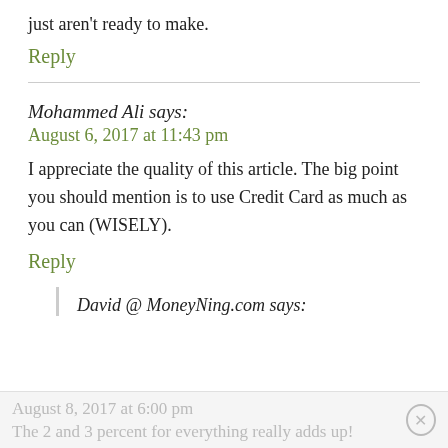just aren't ready to make.
Reply
Mohammed Ali says:
August 6, 2017 at 11:43 pm
I appreciate the quality of this article. The big point you should mention is to use Credit Card as much as you can (WISELY).
Reply
David @ MoneyNing.com says:
August 8, 2017 at 6:00 pm
The 2 and 3 percent for everything really adds up!